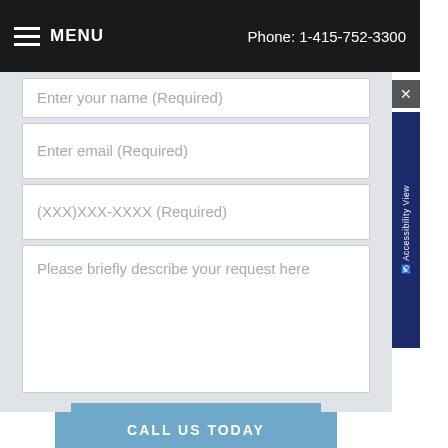MENU   Phone: 1-415-752-3300
Enter your name (Required)
Enter email (Required)
(XXX)XXX-XXXX (Required)
Please briefly describe your request here
SUBMIT
CALL US TODAY